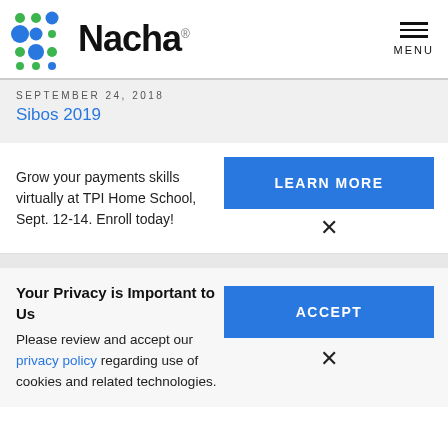[Figure (logo): Nacha logo with colorful dot grid pattern and wordmark]
SEPTEMBER 24, 2018
Sibos 2019
Grow your payments skills virtually at TPI Home School, Sept. 12-14. Enroll today!
LEARN MORE
×
Your Privacy is Important to Us
Please review and accept our privacy policy regarding use of cookies and related technologies.
ACCEPT
×